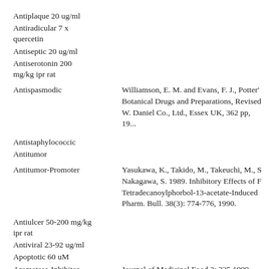Antiplaque 20 ug/ml
Antiradicular 7 x quercetin
Antiseptic 20 ug/ml
Antiserotonin 200 mg/kg ipr rat
Antispasmodic
Williamson, E. M. and Evans, F. J., Potter's Botanical Drugs and Preparations, Revised Ed., W. Daniel Co., Ltd., Essex UK, 362 pp, 19...
Antistaphylococcic
Antitumor
Antitumor-Promoter
Yasukawa, K., Takido, M., Takeuchi, M., S... Nakagawa, S. 1989. Inhibitory Effects of F... Tetradecanoylphorbol-13-acetate-Induced ... Pharm. Bull. 38(3): 774-776, 1990.
Antiulcer 50-200 mg/kg ipr rat
Antiviral 23-92 ug/ml
Apoptotic 60 uM
Aromatase-Inhibitor IC12=1 uM/l
Journal of Medicinal Food 2: 235.1999.
COX-2-Inhibitor